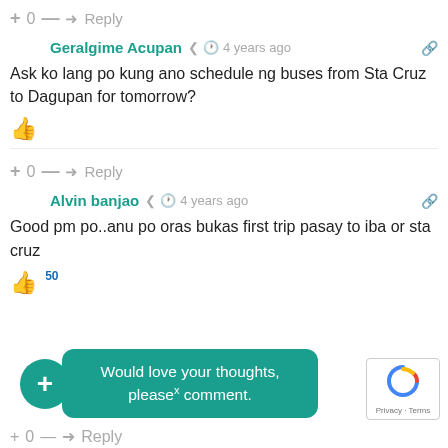+ 0 — → Reply
Geralgime Acupan  4 years ago
Ask ko lang po kung ano schedule ng buses from Sta Cruz to Dagupan for tomorrow?
+ 0 — → Reply
Alvin banjao  4 years ago
Good pm po..anu po oras bukas first trip pasay to iba or sta cruz
[Figure (infographic): Green tooltip bubble saying 'Would love your thoughts, please comment.' with a green plus circle button and a reCAPTCHA widget in the bottom right.]